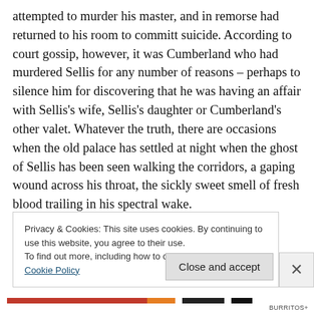attempted to murder his master, and in remorse had returned to his room to committ suicide. According to court gossip, however, it was Cumberland who had murdered Sellis for any number of reasons – perhaps to silence him for discovering that he was having an affair with Sellis's wife, Sellis's daughter or Cumberland's other valet. Whatever the truth, there are occasions when the old palace has settled at night when the ghost of Sellis has been seen walking the corridors, a gaping wound across his throat, the sickly sweet smell of fresh blood trailing in his spectral wake.
Privacy & Cookies: This site uses cookies. By continuing to use this website, you agree to their use.
To find out more, including how to control cookies, see here: Cookie Policy